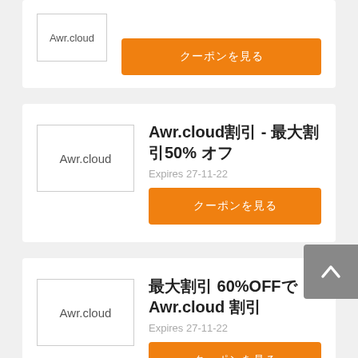[Figure (logo): Awr.cloud logo placeholder box (partial, top card)]
クーポンを見る
[Figure (logo): Awr.cloud logo placeholder box (second card)]
Awr.cloud割引 - 最大割引50% オフ
Expires 27-11-22
クーポンを見る
[Figure (logo): Awr.cloud logo placeholder box (third card)]
最大割引 60%OFFで Awr.cloud 割引
Expires 27-11-22
クーポンを見る